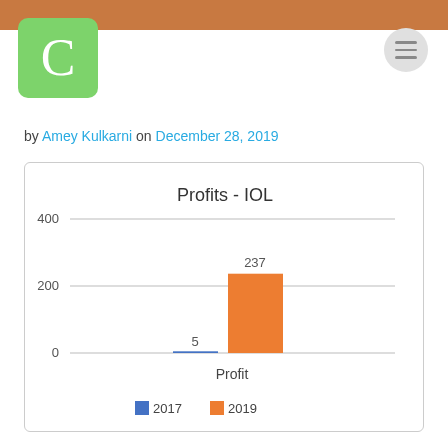[Figure (logo): Green rounded square logo with white letter C]
by Amey Kulkarni on December 28, 2019
[Figure (grouped-bar-chart): Profits - IOL]